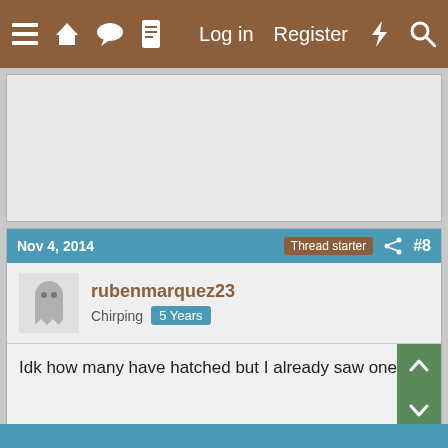≡  🏠  💬  📄    Log in    Register  ⚡  🔍
[Figure (screenshot): Advertisement banner placeholder area, light gray background]
Nov 4, 2014   Thread starter  #8
rubenmarquez23
Chirping  5 Years
Idk how many have hatched but I already saw one!
↑  ↓  Reply
👍 1 person